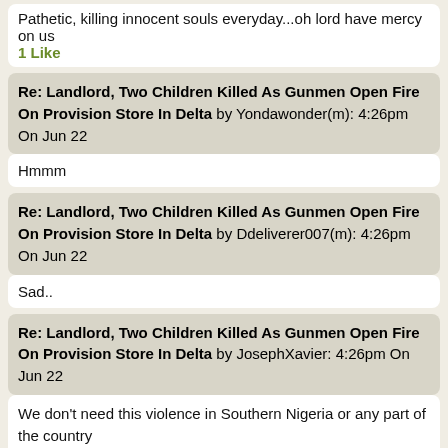Pathetic, killing innocent souls everyday...oh lord have mercy on us
1 Like
Re: Landlord, Two Children Killed As Gunmen Open Fire On Provision Store In Delta by Yondawonder(m): 4:26pm On Jun 22
Hmmm
Re: Landlord, Two Children Killed As Gunmen Open Fire On Provision Store In Delta by Ddeliverer007(m): 4:26pm On Jun 22
Sad..
Re: Landlord, Two Children Killed As Gunmen Open Fire On Provision Store In Delta by JosephXavier: 4:26pm On Jun 22
We don't need this violence in Southern Nigeria or any part of the country

This country needs to be returned to the way it was